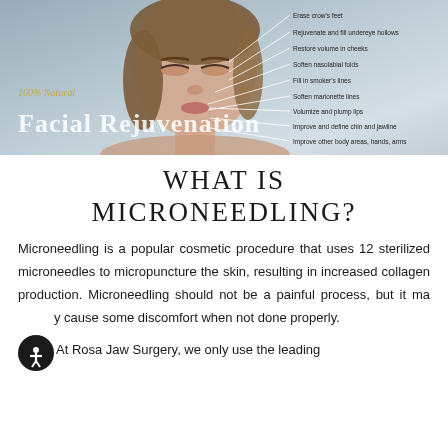[Figure (photo): Banner image of a woman's face with annotation lines pointing to facial features on the right side. Overlay text reads '100% Natural' in gold italic and 'Facial Rejuvenation' in large white serif font. Annotation lines list: Erase crow's feet, Rejuvenate and fill undereye hollows, Restore volume in cheeks, Soften nasolabial folds, Fill in smoker's lines, Soften marionette lines, Volumize and plump lips, Improve and define chin and jawline, Improve other body areas, hands, arms.]
WHAT IS MICRONEEDLING?
Microneedling is a popular cosmetic procedure that uses 12 sterilized microneedles to micropuncture the skin, resulting in increased collagen production. Microneedling should not be a painful process, but it may cause some discomfort when not done properly.
At Rosa Jaw Surgery, we only use the leading